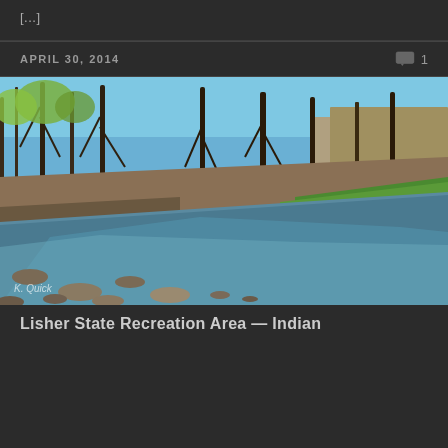[...]
APRIL 30, 2014
[Figure (photo): Outdoor nature photograph of a creek or river scene with rocky banks, shallow clear water, bare and early-spring leafing trees, green grass on the right bank, a small waterfall/dam visible in the background, and limestone bluffs on the right. Photographer credit: K. Quick watermarked in lower left corner.]
Lisher State Recreation Area — Indian